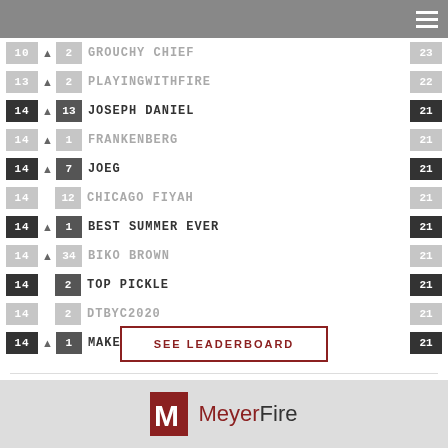Navigation header with hamburger menu
| Rank | Change | Move | Name | Score |
| --- | --- | --- | --- | --- |
| 10 | ▲ | 2 | GROUCHY CHIEF | 23 |
| 13 | ▲ | 2 | PLAYINGWITHFIRE | 22 |
| 14 | ▲ | 13 | JOSEPH DANIEL | 21 |
| 14 | ▲ | 1 | FRANKENBERG | 21 |
| 14 | ▲ | 7 | JOEG | 21 |
| 14 |  | 12 | CHICAGO FIYAH | 21 |
| 14 | ▲ | 1 | BEST SUMMER EVER | 21 |
| 14 | ▲ | 34 | BIKO BROWN | 21 |
| 14 |  | 2 | TOP PICKLE | 21 |
| 14 |  | 2 | DTBYC2020 | 21 |
| 14 | ▲ | 1 | MAKE IT RAIN | 21 |
SEE LEADERBOARD
RSS Feed
[Figure (logo): MeyerFire logo with M emblem and brand name]